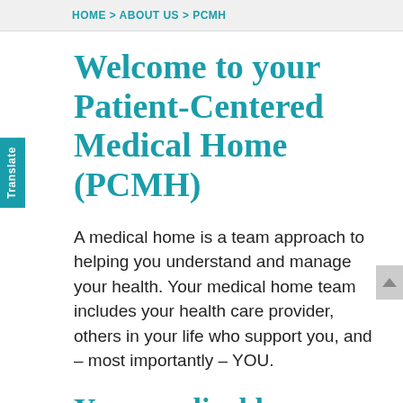HOME > ABOUT US > PCMH
Welcome to your Patient-Centered Medical Home (PCMH)
A medical home is a team approach to helping you understand and manage your health. Your medical home team includes your health care provider, others in your life who support you, and – most importantly – YOU.
Your medical home can
Help you understand and manage your